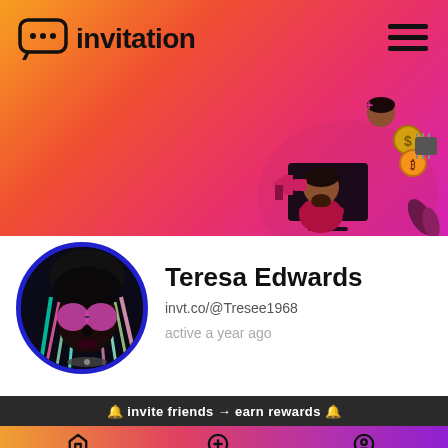[Figure (logo): Invitation app logo: speech bubble with three dots followed by the word 'invitation' in bold black text]
[Figure (illustration): Cartoon illustration of a person at a computer with social/crypto reward icons (coins, megaphone, person being added)]
[Figure (photo): Circular avatar photo of Teresa Edwards - a person with colorful hair and large pink reflective sunglasses against a dark background, framed with a blue circle border]
Teresa Edwards
invt.co/@Tresee1968
active a year ago
🔔 invite friends → earn rewards 🔔
Explore  New post  My codes